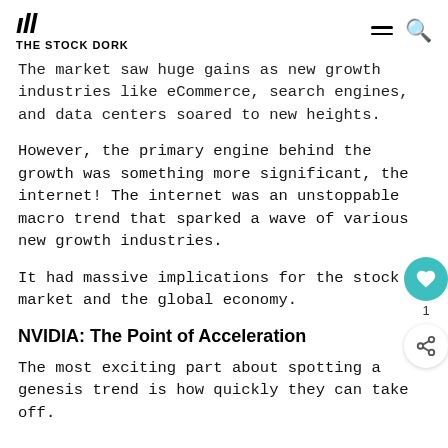THE STOCK DORK
The market saw huge gains as new growth industries like eCommerce, search engines, and data centers soared to new heights.
However, the primary engine behind the growth was something more significant, the internet! The internet was an unstoppable macro trend that sparked a wave of various new growth industries.
It had massive implications for the stock market and the global economy.
NVIDIA: The Point of Acceleration
The most exciting part about spotting a genesis trend is how quickly they can take off.